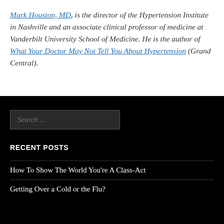Mark Houston, MD, is the director of the Hypertension Institute in Nashville and an associate clinical professor of medicine at Vanderbilt University School of Medicine. He is the author of What Your Doctor May Not Tell You About Hypertension (Grand Central).
Search ...
RECENT POSTS
How To Show The World You're A Class-Act
Getting Over a Cold or the Flu?